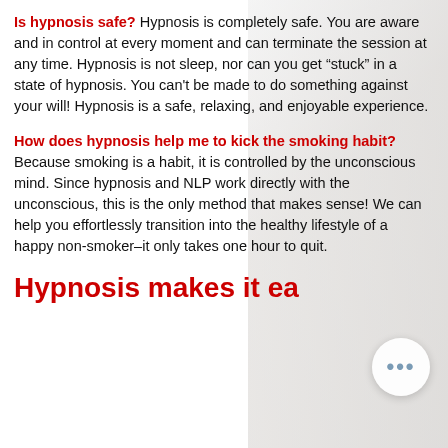Is hypnosis safe? Hypnosis is completely safe. You are aware and in control at every moment and can terminate the session at any time. Hypnosis is not sleep, nor can you get "stuck" in a state of hypnosis. You can't be made to do something against your will! Hypnosis is a safe, relaxing, and enjoyable experience.
How does hypnosis help me to kick the smoking habit? Because smoking is a habit, it is controlled by the unconscious mind. Since hypnosis and NLP work directly with the unconscious, this is the only method that makes sense! We can help you effortlessly transition into the healthy lifestyle of a happy non-smoker–it only takes one hour to quit.
Hypnosis makes it ea...